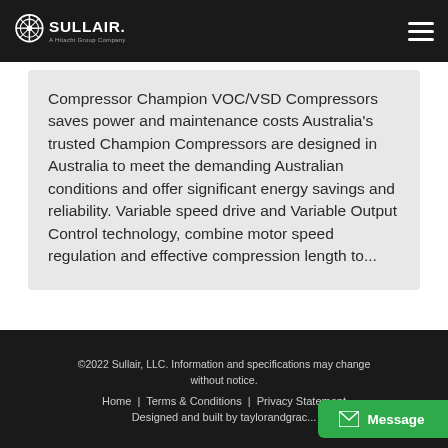Sullair — A Hitachi Group Company
Compressor Champion VOC/VSD Compressors saves power and maintenance costs Australia's trusted Champion Compressors are designed in Australia to meet the demanding Australian conditions and offer significant energy savings and reliability. Variable speed drive and Variable Output Control technology, combine motor speed regulation and effective compression length to...
©2022 Sullair, LLC. Information and specifications may change without notice. Home | Terms & Conditions | Privacy Statement Designed and built by taylorandgrac...